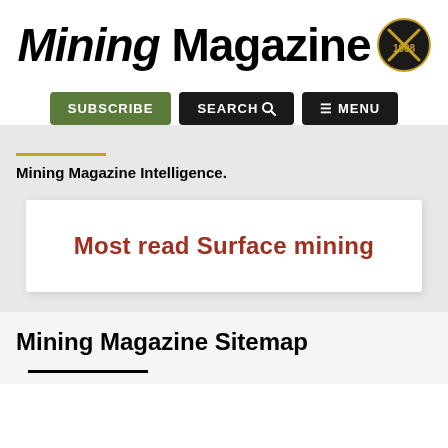[Figure (logo): Mining Magazine logo with pickaxe badge established 1908]
SUBSCRIBE   SEARCH   ≡ MENU
Mining Magazine Intelligence.
Most read Surface mining
Mining Magazine Sitemap